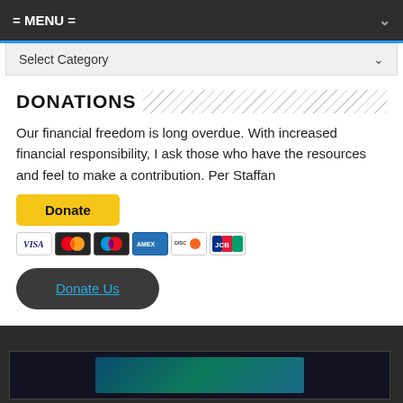= MENU =
Select Category
DONATIONS
Our financial freedom is long overdue. With increased financial responsibility, I ask those who have the resources and feel to make a contribution. Per Staffan
[Figure (other): Yellow PayPal Donate button followed by payment method icons: Visa, Mastercard, Maestro, American Express, Discover, JCB]
[Figure (other): Dark rounded button with cyan underlined text 'Donate Us']
[Figure (other): Dark footer area with a dark image box showing a blue-green digital/tech themed image]